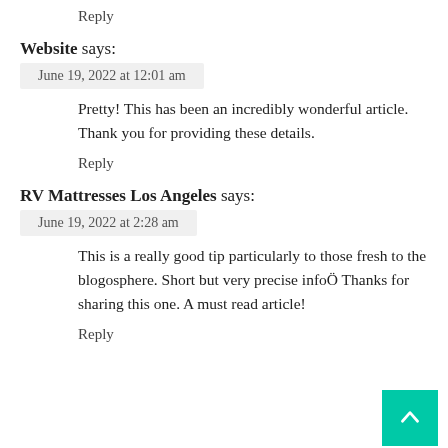Reply
Website says:
June 19, 2022 at 12:01 am
Pretty! This has been an incredibly wonderful article. Thank you for providing these details.
Reply
RV Mattresses Los Angeles says:
June 19, 2022 at 2:28 am
This is a really good tip particularly to those fresh to the blogosphere. Short but very precise infoÖ Thanks for sharing this one. A must read article!
Reply